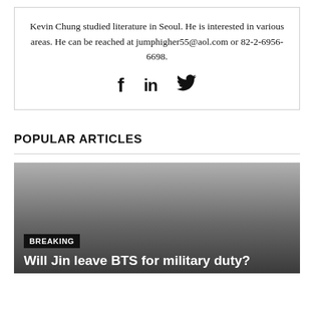Kevin Chung studied literature in Seoul. He is interested in various areas. He can be reached at jumphigher55@aol.com or 82-2-6956-6698.
[Figure (illustration): Social media icons: Facebook (f), LinkedIn (in), Twitter (bird icon)]
POPULAR ARTICLES
[Figure (photo): Article card with gradient background showing breaking news badge and headline: Will Jin leave BTS for military duty?]